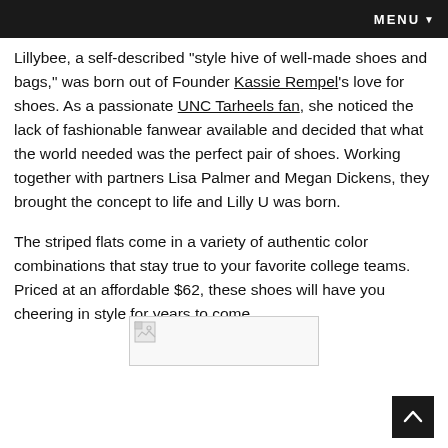MENU ▼
Lillybee, a self-described "style hive of well-made shoes and bags," was born out of Founder Kassie Rempel's love for shoes. As a passionate UNC Tarheels fan, she noticed the lack of fashionable fanwear available and decided that what the world needed was the perfect pair of shoes. Working together with partners Lisa Palmer and Megan Dickens, they brought the concept to life and Lilly U was born.
The striped flats come in a variety of authentic color combinations that stay true to your favorite college teams. Priced at an affordable $62, these shoes will have you cheering in style for years to come.
[Figure (photo): Broken image placeholder icon — a small image with a broken/missing image indicator in the top-left corner, contained within a light bordered rectangle.]